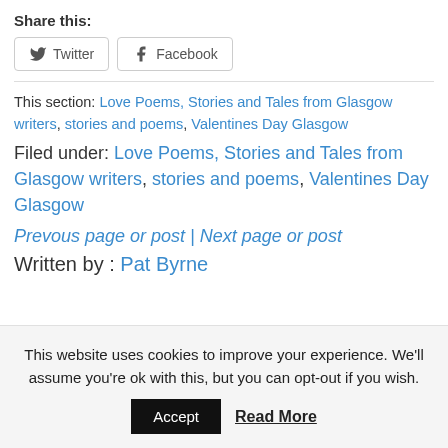Share this:
Twitter  Facebook
This section: Love Poems, Stories and Tales from Glasgow writers, stories and poems, Valentines Day Glasgow
Filed under: Love Poems, Stories and Tales from Glasgow writers, stories and poems, Valentines Day Glasgow
Prevous page or post | Next page or post
Written by : Pat Byrne
This website uses cookies to improve your experience. We'll assume you're ok with this, but you can opt-out if you wish.
Accept  Read More